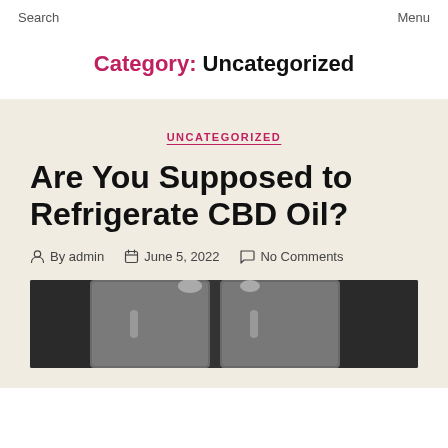Search    Menu
Category: Uncategorized
UNCATEGORIZED
Are You Supposed to Refrigerate CBD Oil?
By admin   June 5, 2022   No Comments
[Figure (photo): Photo of a stainless steel refrigerator, partially visible, dark background]